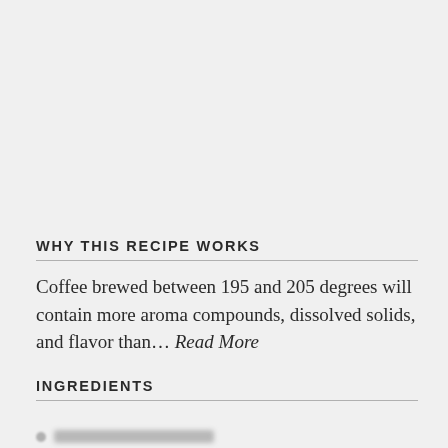WHY THIS RECIPE WORKS
Coffee brewed between 195 and 205 degrees will contain more aroma compounds, dissolved solids, and flavor than... Read More
INGREDIENTS